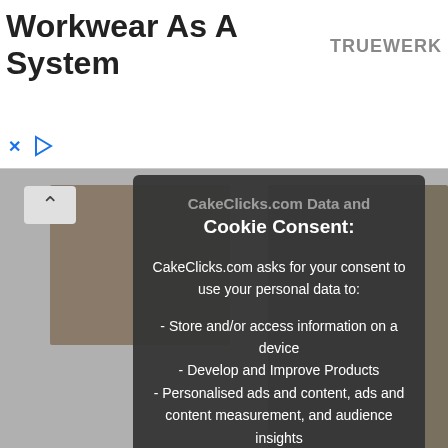[Figure (screenshot): Advertisement banner for 'Workwear As A System' by TRUEWERK with close and play controls]
[Figure (screenshot): Cookie consent modal overlay on CakeClicks.com webpage showing cake images in background]
CakeClicks.com Data and Cookie Consent:
CakeClicks.com asks for your consent to use your personal data to:
- Store and/or access information on a device
- Develop and Improve Products
- Personalised ads and content, ads and content measurement, and audience insights
In order to provide a more personal user experience, we and our partners use technology such as cookies to store and/or access device information.